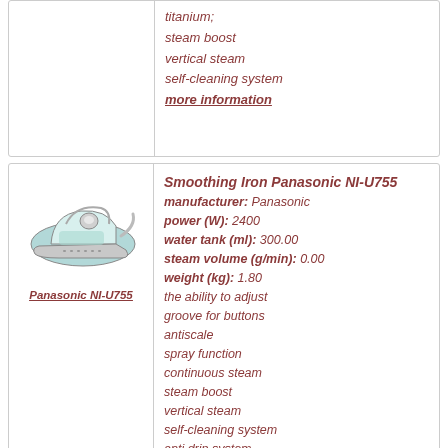titanium;
steam boost
vertical steam
self-cleaning system
more information
[Figure (photo): Photo of Panasonic NI-U755 steam iron in light blue/white color]
Panasonic NI-U755
Smoothing Iron Panasonic NI-U755
manufacturer: Panasonic
power (W): 2400
water tank (ml): 300.00
steam volume (g/min): 0.00
weight (kg): 1.80
the ability to adjust
groove for buttons
antiscale
spray function
continuous steam
steam boost
vertical steam
self-cleaning system
anti drip system
automatic cord winder
automatic shutdown
more information
1  2
Please help the project! Please share it! Thank you!
[Figure (infographic): Social media share buttons: Facebook, Twitter, email/bookmark, Pinterest, WhatsApp, print, Gmail, LinkedIn, Google, More]